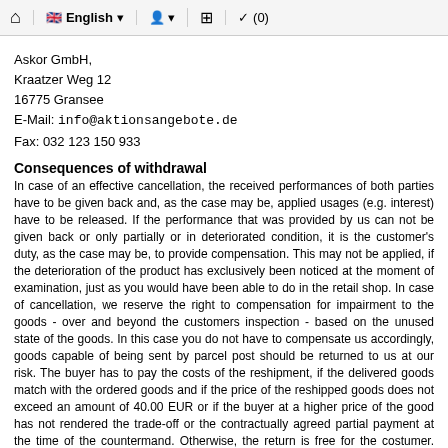Home | English | Account | Grid | Cart (0)
Askor GmbH,
Kraatzer Weg 12
16775 Gransee
E-Mail: info@aktionsangebote.de
Fax: 032 123 150 933
Consequences of withdrawal
In case of an effective cancellation, the received performances of both parties have to be given back and, as the case may be, applied usages (e.g. interest) have to be released. If the performance that was provided by us can not be given back or only partially or in deteriorated condition, it is the customer's duty, as the case may be, to provide compensation. This may not be applied, if the deterioration of the product has exclusively been noticed at the moment of examination, just as you would have been able to do in the retail shop. In case of cancellation, we reserve the right to compensation for impairment to the goods - over and beyond the customers inspection - based on the unused state of the goods. In this case you do not have to compensate us accordingly, goods capable of being sent by parcel post should be returned to us at our risk. The buyer has to pay the costs of the reshipment, if the delivered goods match with the ordered goods and if the price of the reshipped goods does not exceed an amount of 40.00 EUR or if the buyer at a higher price of the good has not rendered the trade-off or the contractually agreed partial payment at the time of the countermand. Otherwise, the return is free for the costumer. Items that cannot to be sent in a package, will be picked up. Requests for re-compensation for payment must be met within 30 days after sending the declaration of withdrawal or after returning the goods.
Costs of return
The buyer has to pay the costs of the reshipment, if the delivered goods match with the